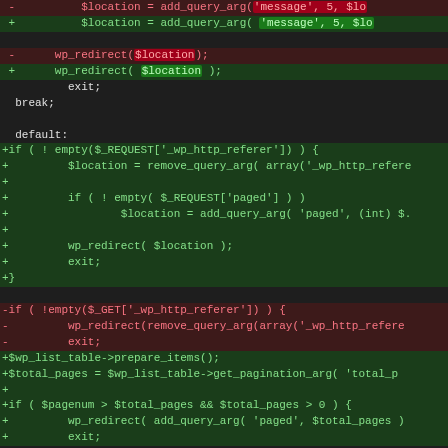[Figure (screenshot): A code diff view showing PHP code changes. Removed lines are in red with pink text, added lines are in green with light green text. The diff shows changes to wp_redirect calls, a default case handler, and pagination logic.]